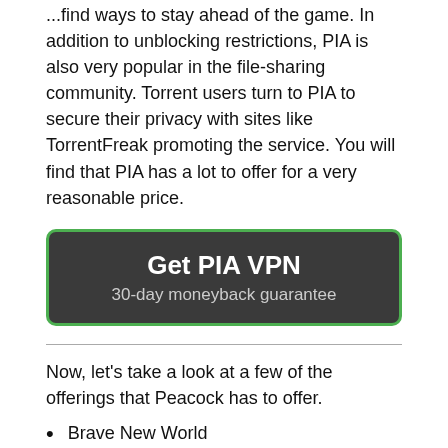...find ways to stay ahead of the game. In addition to unblocking restrictions, PIA is also very popular in the file-sharing community. Torrent users turn to PIA to secure their privacy with sites like TorrentFreak promoting the service. You will find that PIA has a lot to offer for a very reasonable price.
[Figure (other): Dark button with green border reading 'Get PIA VPN' and subtitle '30-day moneyback guarantee']
Now, let's take a look at a few of the offerings that Peacock has to offer.
Brave New World
Intelligence
Hitmen